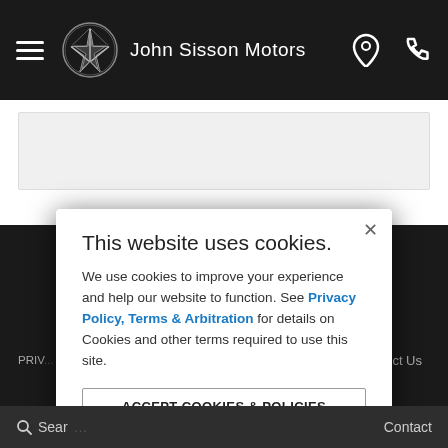John Sisson Motors
[Figure (screenshot): Website content strip below navigation bar showing partially visible page content]
[Figure (logo): Mercedes-Benz star logo with John Sisson Motors text in dark footer area]
PRIV... ct Us
This website uses cookies.
We use cookies to improve your experience and help our website to function. See Privacy Policy, Terms & Arbitration for details on Cookies and other terms required to use this site.
ACCEPT COOKIES & POLICIES
MORE INFORMATION
Privacy Policy
Search   Contact